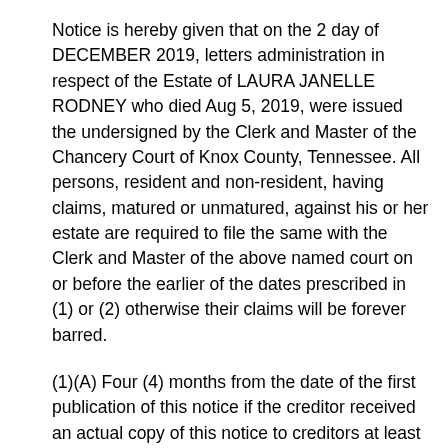Notice is hereby given that on the 2 day of DECEMBER 2019, letters administration in respect of the Estate of LAURA JANELLE RODNEY who died Aug 5, 2019, were issued the undersigned by the Clerk and Master of the Chancery Court of Knox County, Tennessee. All persons, resident and non-resident, having claims, matured or unmatured, against his or her estate are required to file the same with the Clerk and Master of the above named court on or before the earlier of the dates prescribed in (1) or (2) otherwise their claims will be forever barred.
(1)(A) Four (4) months from the date of the first publication of this notice if the creditor received an actual copy of this notice to creditors at least sixty (60) days before the date that is four (4) months from the date of this